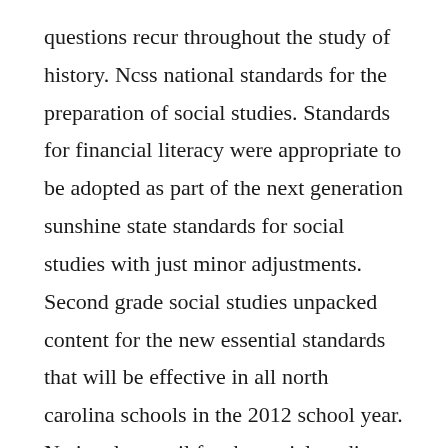questions recur throughout the study of history. Ncss national standards for the preparation of social studies. Standards for financial literacy were appropriate to be adopted as part of the next generation sunshine state standards for social studies with just minor adjustments. Second grade social studies unpacked content for the new essential standards that will be effective in all north carolina schools in the 2012 school year. National council for the social studies ncss curriculum standards for social studies standards. The nineteen performance expectations